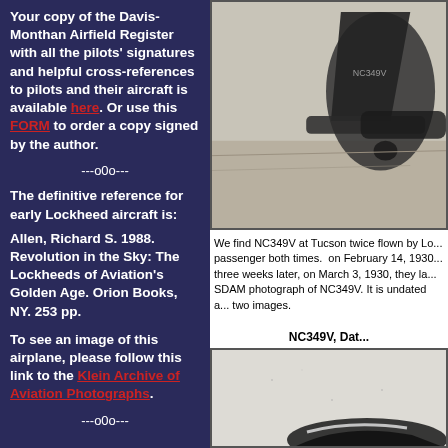Your copy of the Davis-Monthan Airfield Register with all the pilots' signatures and helpful cross-references to pilots and their aircraft is available here. Or use this FORM to order a copy signed by the author.
---o0o---
The definitive reference for early Lockheed aircraft is:
Allen, Richard S. 1988. Revolution in the Sky: The Lockheeds of Aviation's Golden Age. Orion Books, NY. 253 pp.
To see an image of this airplane, please follow this link to the Klein Archive of Aviation Photographs.
---o0o---
[Figure (photo): Black and white photograph of aircraft NC349V on airfield at Tucson, showing tail section prominently]
We find NC349V at Tucson twice flown by Lo... passenger both times. on February 14, 1930... three weeks later, on March 3, 1930, they la... SDAM photograph of NC349V. It is undated a... two images.
NC349V, Dat...
[Figure (photo): Second black and white photograph of NC349V, undated, showing partial view of aircraft]